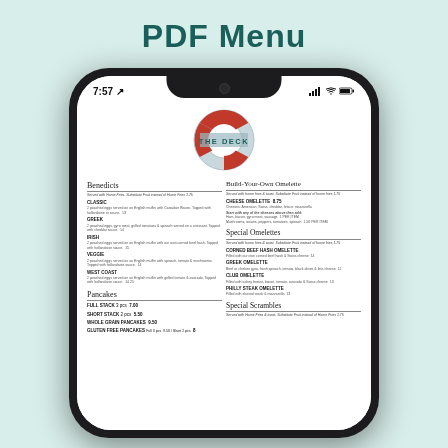PDF Menu
[Figure (screenshot): iPhone mockup showing The Deck restaurant PDF menu with Benedicts, Pancakes, Build-Your-Own Omelette, Special Omelettes, and Special Scrambles sections]
Benedicts - Served with Home Fries. Substitute Fruit instead of Home Fries 1.75. CLASSIC: 2 poached eggs served on an English muffin with Canadian Bacon. Topped with hollandaise or sauce. 13. GREEK: 2 poached eggs, gyro meat, grilled tomatoes & spinach served on a croissant. Topped with cheddar sauce. 14. IRISH: 2 poached eggs served on an English muffin with our own corned beef hash. Topped with hollandaise sauce. 15. VEGGIE: 2 poached eggs served on an English muffin with spinach, tomato & mushrooms. Topped with hollandaise sauce. 14. WEST COAST: 2 poached eggs served on an English muffin with grilled tomato & avocado. Topped with hollandaise sauce. 14.25.
Pancakes - FULL STACK 3 pcs 7.00. SHORT STACK 2 pcs 5.50. WHOLE GRAIN PANCAKES 9.50. GLUTEN FREE PANCAKES Full 3 pcs 9.50 / Short 2 pcs 8.
Build-Your-Own Omelette - Served with home fries & toast. Substitute Fruit instead of home fries 1.75. CHEESE OMELETTE 8.75. Cheeses: American, Swiss, cheddar, feta or mozzarella. Start with any of the cheeses above then add: Ham, bacon, gyro meat, sausage 1 PER ITEM. Mushrooms, onions, peppers, tomatoes, spinach 1.50 PER ITEM.
Special Omelettes - Served with home fries & toast. Substitute Fruit instead of home fries 1.75. CORNED BEEF HASH OMELETTE: Filled with our own corned beef hash & Swiss cheese. 14. GREEK OMELETTE: Beef or chicken gyro, fresh spinach, tomato, black olives & feta cheese. 12. CLUB OMELETTE: Filled with turkey breast, bacon, tomato, avocado & Swiss cheese. 13. PHILLY STEAK OMELETTE: Filled with shaved steak & mozzarella. 13.
Special Scrambles - Served with Home Fries & toast. Substitute Fruit instead of Home Fries 1.75.